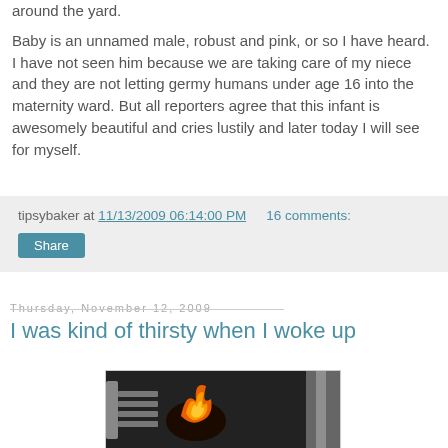around the yard.
Baby is an unnamed male, robust and pink, or so I have heard. I have not seen him because we are taking care of my niece and they are not letting germy humans under age 16 into the maternity ward. But all reporters agree that this infant is awesomely beautiful and cries lustily and later today I will see for myself.
tipsybaker at 11/13/2009 06:14:00 PM   16 comments:
Share
Thursday, November 12, 2009
I was kind of thirsty when I woke up
[Figure (photo): Photo of food cooking in a dark pan with a spatula, flames visible, and what appears to be a cooking pan edge on the right side]